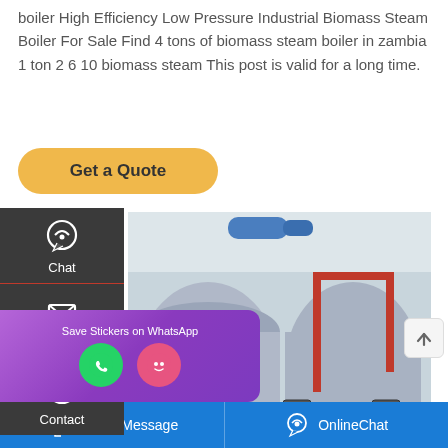boiler High Efficiency Low Pressure Industrial Biomass Steam Boiler For Sale Find 4 tons of biomass steam boiler in zambia 1 ton 2 6 10 biomass steam This post is valid for a long time.
[Figure (illustration): Get a Quote button — rounded rectangle with amber/gold background and dark text]
[Figure (infographic): Dark sidebar with Chat, Email, Contact icons in white on dark background with red dividers]
[Figure (photo): Industrial boiler room showing large cylindrical boilers with yellow/orange pipe fittings, red pipes, and blue connections in an industrial facility]
[Figure (infographic): Purple WhatsApp popup panel with 'Save Stickers on WhatsApp' label and two circular icons (green phone, pink emoji face)]
[Figure (infographic): Blue bottom navigation bar with 'Leave Message' on left and 'OnlineChat' on right, both with white icons and text]